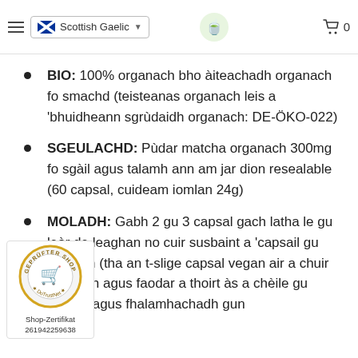Scottish Gaelic — matchamaker matcha grind — Cart 0
BIO: 100% organach bho àiteachadh organach fo smachd (teisteanas organach leis a 'bhuidheann sgrùdaidh organach: DE-ÖKO-022)
SGEULACHD: Pùdar matcha organach 300mg fo sgàil agus talamh ann am jar dion resealable (60 capsal, cuideam iomlan 24g)
MOLADH: Gabh 2 gu 3 capsal gach latha le gu leòr de leaghan no cuir susbaint a 'capsail gu leaghan (tha an t-slige capsal vegan air a chuir a-steach agus faodar a thoirt às a chèile gu furasta agus fhalamhachadh gun
[Figure (logo): Geprüfter Shop DoTrustNet badge with shopping cart icon, Shop-Zertifikat 261942259638]